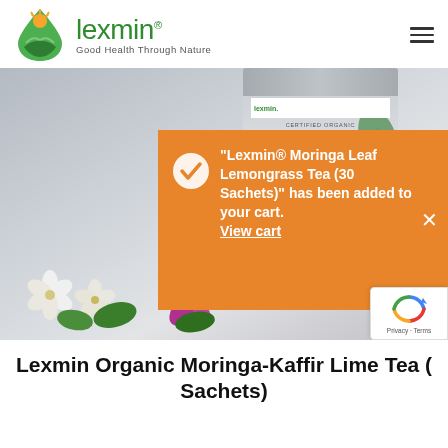[Figure (logo): Lexmin logo with sun/leaf droplet icon and text 'lexmin. Good Health Through Nature']
[Figure (photo): Product photo of Lexmin Moringa tea bag with white and purple flowers in foreground, and an orange cart notification overlay reading: '"Lexmin® Moringa Leaf Lemongrass Tea (30 Sachets)" has been added to your cart. View cart']
Lexmin Organic Moringa-Kaffir Lime Tea (... Sachets)